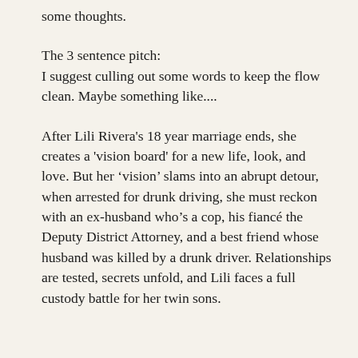some thoughts.
The 3 sentence pitch:
I suggest culling out some words to keep the flow clean. Maybe something like....
After Lili Rivera's 18 year marriage ends, she creates a 'vision board' for a new life, look, and love. But her ‘vision’ slams into an abrupt detour, when arrested for drunk driving, she must reckon with an ex-husband who’s a cop, his fiancé the Deputy District Attorney, and a best friend whose husband was killed by a drunk driver. Relationships are tested, secrets unfold, and Lili faces a full custody battle for her twin sons.